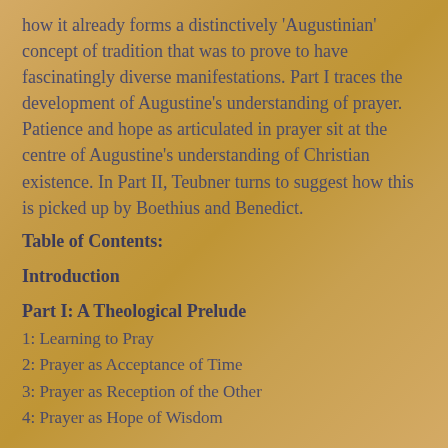how it already forms a distinctively 'Augustinian' concept of tradition that was to prove to have fascinatingly diverse manifestations. Part I traces the development of Augustine's understanding of prayer. Patience and hope as articulated in prayer sit at the centre of Augustine's understanding of Christian existence. In Part II, Teubner turns to suggest how this is picked up by Boethius and Benedict.
Table of Contents:
Introduction
Part I: A Theological Prelude
1: Learning to Pray
2: Prayer as Acceptance of Time
3: Prayer as Reception of the Other
4: Prayer as Hope of Wisdom